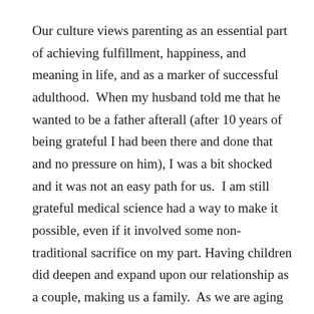Our culture views parenting as an essential part of achieving fulfillment, happiness, and meaning in life, and as a marker of successful adulthood.  When my husband told me that he wanted to be a father afterall (after 10 years of being grateful I had been there and done that and no pressure on him), I was a bit shocked and it was not an easy path for us.  I am still grateful medical science had a way to make it possible, even if it involved some non-traditional sacrifice on my part.  Having children did deepen and expand upon our relationship as a couple, making us a family.  As we are aging without any other family nearby, we are grateful our children may be there for us.

Remaining childless by choice (AKA childfree) is still